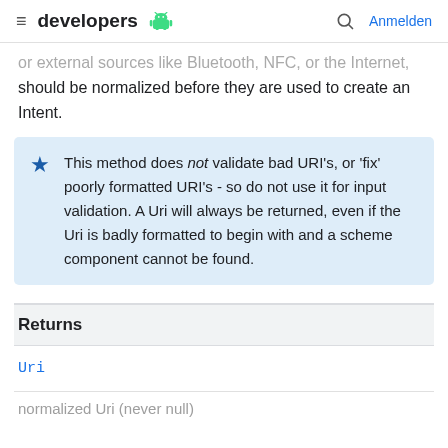developers [android logo] Anmelden
or external sources like Bluetooth, NFC, or the Internet, should be normalized before they are used to create an Intent.
This method does not validate bad URI's, or 'fix' poorly formatted URI's - so do not use it for input validation. A Uri will always be returned, even if the Uri is badly formatted to begin with and a scheme component cannot be found.
Returns
Uri
normalized Uri (never null)